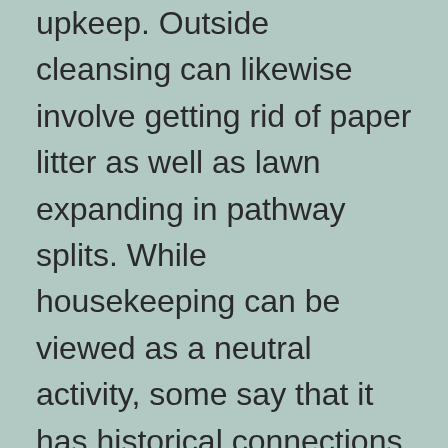upkeep. Outside cleansing can likewise involve getting rid of paper litter as well as lawn expanding in pathway splits. While housekeeping can be viewed as a neutral activity, some say that it has historical connections to injustice. Moreover, house cleaning is not only a vital part of a person’s task; it also profits companies that produce chemicals and other services utilized in the cleaning industry.
Some individuals are also with the ability of ending up being a housekeeper. All they need is a secondary school education or some